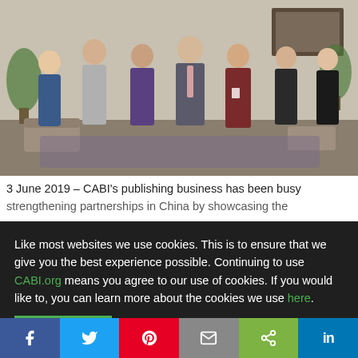[Figure (photo): Group photo of seven people (one man in suit and six women) standing together in an indoor office/meeting room setting]
3 June 2019 – CABI's publishing business has been busy strengthening partnerships in China by showcasing the
Like most websites we use cookies. This is to ensure that we give you the best experience possible. Continuing to use CABI.org means you agree to our use of cookies. If you would like to, you can learn more about the cookies we use here.
Close this banner